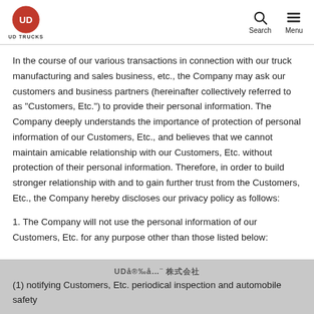UD TRUCKS | Search | Menu
In the course of our various transactions in connection with our truck manufacturing and sales business, etc., the Company may ask our customers and business partners (hereinafter collectively referred to as "Customers, Etc.") to provide their personal information. The Company deeply understands the importance of protection of personal information of our Customers, Etc., and believes that we cannot maintain amicable relationship with our Customers, Etc. without protection of their personal information. Therefore, in order to build stronger relationship with and to gain further trust from the Customers, Etc., the Company hereby discloses our privacy policy as follows:
1. The Company will not use the personal information of our Customers, Etc. for any purpose other than those listed below:
(1) notifying Customers, Etc. periodical inspection and automobile safety